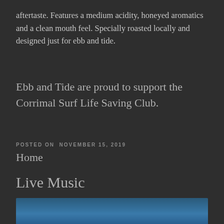aftertaste. Features a medium acidity, honeyed aromatics and a clean mouth feel. Specially roasted locally and designed just for ebb and tide.
Ebb and Tide are proud to support the Corrimal Surf Life Saving Club.
POSTED ON NOVEMBER 15, 2019
Home
Live Music
[Figure (photo): Blue ocean/water image strip at the bottom of the page]